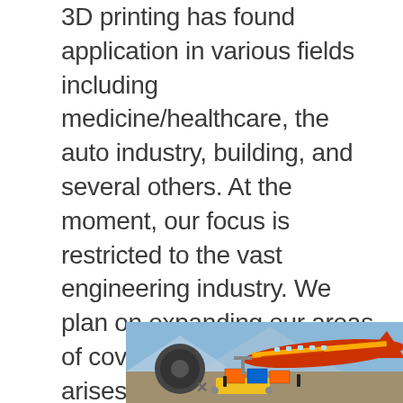3D printing has found application in various fields including medicine/healthcare, the auto industry, building, and several others. At the moment, our focus is restricted to the vast engineering industry. We plan on expanding our areas of coverage as the need arises.
[Figure (photo): Advertisement banner showing cargo being loaded onto a Southwest Airlines aircraft at an airport, with a gray text panel on the right reading 'WITHOUT REGARD TO POLITICS, RELIGION OR ABILITY TO PAY']